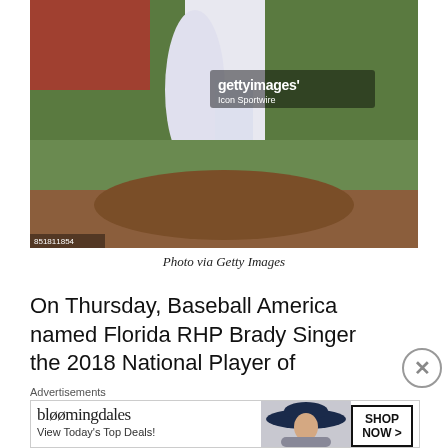[Figure (photo): Baseball pitcher in white uniform with blue Nike cleats mid-pitch on a dirt mound. Getty Images watermark visible. Photo credit number 851811854.]
Photo via Getty Images
On Thursday, Baseball America named Florida RHP Brady Singer the 2018 National Player of
Advertisements
[Figure (other): Bloomingdales advertisement banner: 'bloomingdales / View Today's Top Deals!' with a woman wearing a large hat and 'SHOP NOW >' button.]